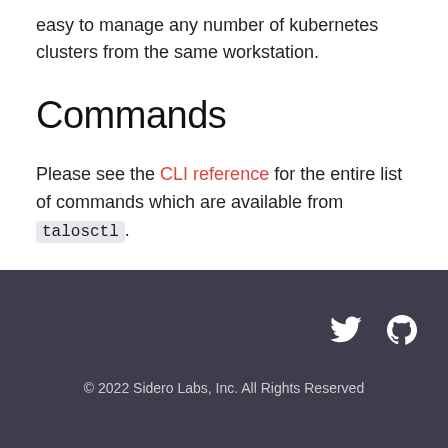easy to manage any number of kubernetes clusters from the same workstation.
Commands
Please see the CLI reference for the entire list of commands which are available from talosctl.
© 2022 Sidero Labs, Inc. All Rights Reserved